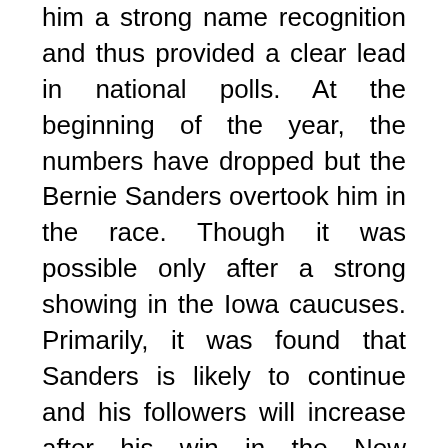him a strong name recognition and thus provided a clear lead in national polls. At the beginning of the year, the numbers have dropped but the Bernie Sanders overtook him in the race. Though it was possible only after a strong showing in the Iowa caucuses. Primarily, it was found that Sanders is likely to continue and his followers will increase after his win in the New Hampshire.
In case of Elizabeth Warren, she mostly overtook Biden in October last year. Now, he has seen her numbers fall in the past months. Apart from all that in 2019, Pete Buttigieg was the big surprise. That's because of gaining traction while other high-profile candidates like Beto O'Rourke and Cory Booker struggled for success. It was found that his performance in Iowa and New Hampshire...